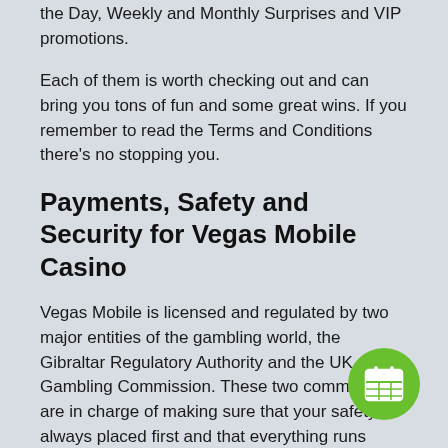the Day, Weekly and Monthly Surprises and VIP promotions.
Each of them is worth checking out and can bring you tons of fun and some great wins. If you remember to read the Terms and Conditions there’s no stopping you.
Payments, Safety and Security for Vegas Mobile Casino
Vegas Mobile is licensed and regulated by two major entities of the gambling world, the Gibraltar Regulatory Authority and the UK Gambling Commission. These two commissions are in charge of making sure that your safety is always placed first and that everything runs smoothly and legally.
Vegas Casino wants you to be completely comfortable and to be able to enjoy every step of the way. That’s why they made sure they offered all the most popular